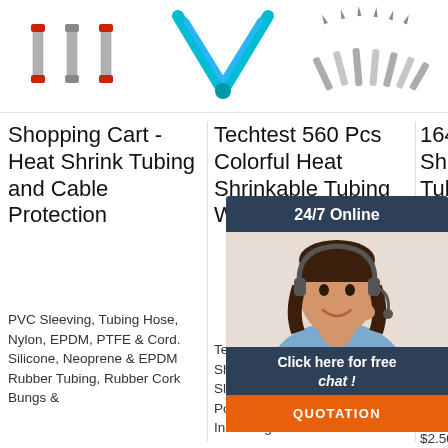[Figure (photo): Three heat shrink tube connectors with red ends]
[Figure (photo): Blue colorful heat shrinkable tubing in V shape]
[Figure (photo): Gray metal drill bits or ferrules assorted]
Shopping Cart - Heat Shrink Tubing and Cable Protection
Techtest 560 Pcs Colorful Heat Shrinkable Tubing Wire ...
164 PCS Heat Shrink Tube Tubing Sleeve Electrical Wire Cable Wrap...
PVC Sleeving, Tubing Hose, Nylon, EPDM, PTFE & Cord. Silicone, Neoprene & EPDM Rubber Tubing, Rubber Cork Bungs &
Techtest 560 Pcs Colorful Heat Shrinkable Tubing Wire Cable Sleeve 11 Sizes 2:1 1-13 Mm Polyolefin Shrink Tubular Insulating Sheath Kit Box
164pcs Heat Shrink Tube Tubing Sleeve Wrap Wire cable Insulated Assorted Kit. $2.50. + $2.91
[Figure (infographic): 24/7 Online chat support widget with agent photo, 'Click here for free chat!' text, and orange QUOTATION button]